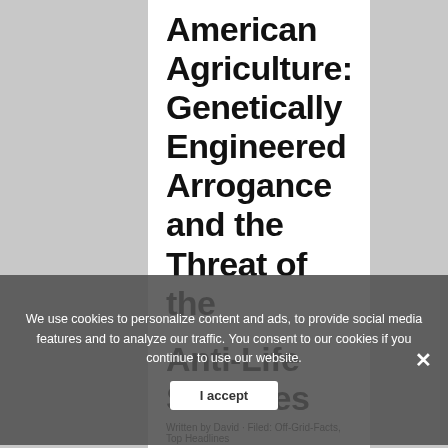American Agriculture: Genetically Engineered Arrogance and the Threat of the Anti-Life Sciences
We use cookies to personalize content and ads, to provide social media features and to analyze our traffic. You consent to our cookies if you continue to use our website.
Written by David · Filed: Off-Grid-Facts, Top Headlines